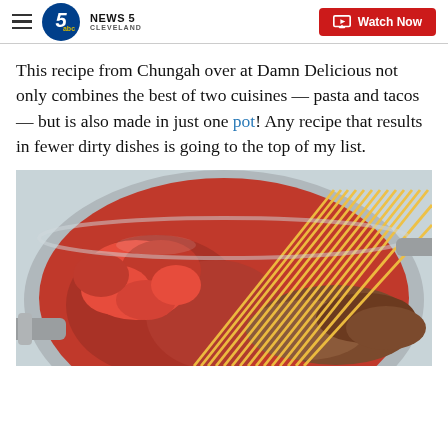NEWS 5 CLEVELAND — Watch Now
This recipe from Chungah over at Damn Delicious not only combines the best of two cuisines — pasta and tacos — but is also made in just one pot! Any recipe that results in fewer dirty dishes is going to the top of my list.
[Figure (photo): A stainless steel pan filled with tomato sauce, ground meat, and uncooked spaghetti noodles laid across the top, suggesting a one-pot taco pasta dish in preparation.]